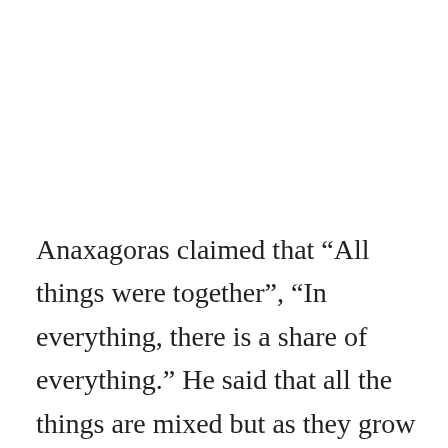Anaxagoras claimed that “All things were together”, “In everything, there is a share of everything.” He said that all the things are mixed but as they grow they are dispersed. In the same seminal fluid, there are hairs, nails, bone, and veins together but as they grow they are separated off. He further added by saying that, black is white, white is black and also light is mixed with heavy and vice versa. This principle of everything’s everythin…